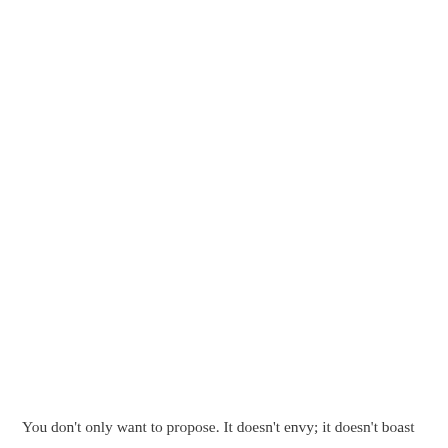You don't only want to propose. It doesn't envy; it doesn't boast